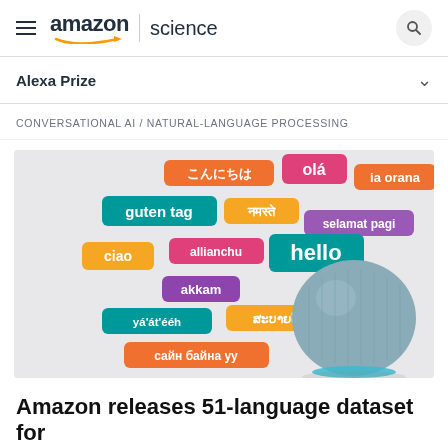amazon | science
Alexa Prize
CONVERSATIONAL AI / NATURAL-LANGUAGE PROCESSING
[Figure (photo): Amazon Echo Dot smart speaker shown alongside colorful speech bubble graphics displaying greetings in multiple languages: こんにちは, olá, ia orana, guten tag, नमस्ते, selamat pagi, allianchu, ciao, hello, akkam, yá'át'ééh, ສະບາຍດີ, сайн байна уу]
Amazon releases 51-language dataset for